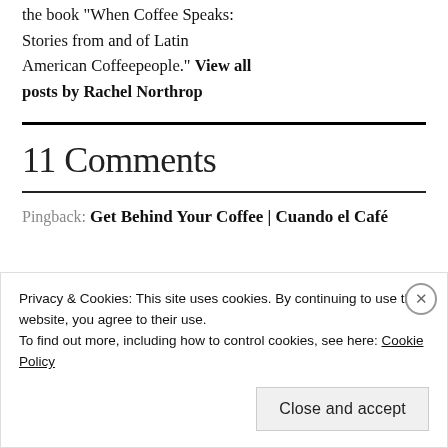the book "When Coffee Speaks: Stories from and of Latin American Coffeepeople." View all posts by Rachel Northrop
11 Comments
Pingback: Get Behind Your Coffee | Cuando el Café
Privacy & Cookies: This site uses cookies. By continuing to use this website, you agree to their use.
To find out more, including how to control cookies, see here: Cookie Policy